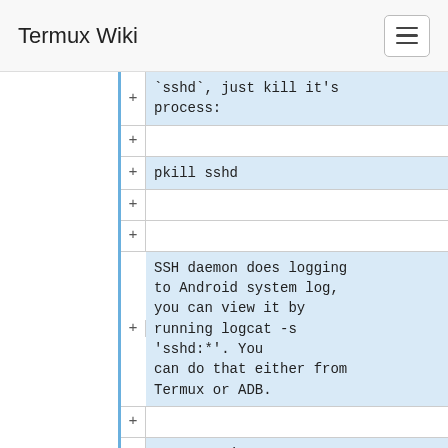Termux Wiki
`sshd`, just kill it's process:
pkill sshd
SSH daemon does logging to Android system log, you can view it by running <code>logcat -s 'sshd:*'</code>. You can do that either from Termux or ADB.
==== Setting up password authentication